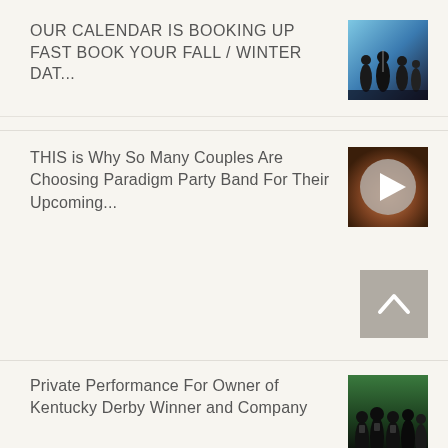OUR CALENDAR IS BOOKING UP FAST BOOK YOUR FALL / WINTER DAT...
[Figure (photo): Band performing on stage with blue stage lighting]
THIS is Why So Many Couples Are Choosing Paradigm Party Band For Their Upcoming...
[Figure (photo): Video thumbnail with play button overlay on circular control]
[Figure (other): Scroll-to-top button with upward chevron arrow]
Private Performance For Owner of Kentucky Derby Winner and Company
[Figure (photo): Group of performers or band members in formal attire]